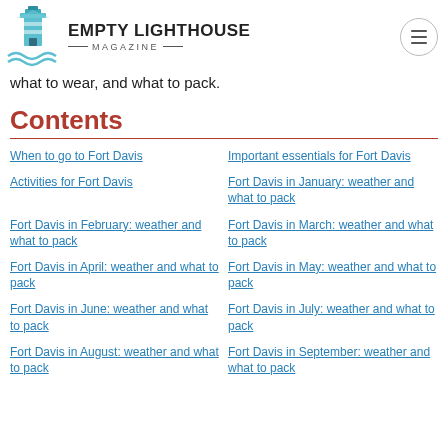Empty Lighthouse Magazine
what to wear, and what to pack.
Contents
When to go to Fort Davis
Important essentials for Fort Davis
Activities for Fort Davis
Fort Davis in January: weather and what to pack
Fort Davis in February: weather and what to pack
Fort Davis in March: weather and what to pack
Fort Davis in April: weather and what to pack
Fort Davis in May: weather and what to pack
Fort Davis in June: weather and what to pack
Fort Davis in July: weather and what to pack
Fort Davis in August: weather and what to pack
Fort Davis in September: weather and what to pack